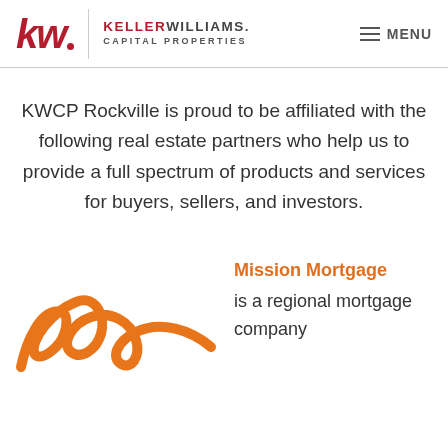KELLERWILLIAMS. CAPITAL PROPERTIES | MENU
KWCP Rockville is proud to be affiliated with the following real estate partners who help us to provide a full spectrum of products and services for buyers, sellers, and investors.
[Figure (logo): Mission Mortgage orange cursive logo]
Mission Mortgage is a regional mortgage company